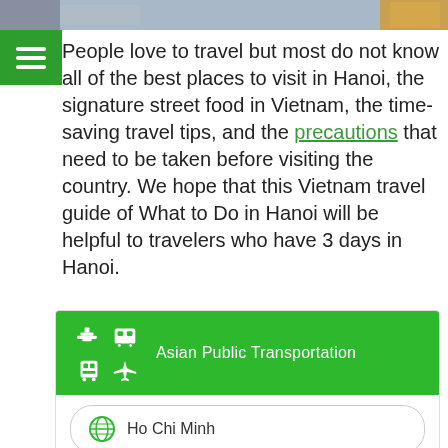[Figure (photo): Partial top banner image showing street scene]
[Figure (other): Green hamburger/menu button icon]
People love to travel but most do not know all of the best places to visit in Hanoi, the signature street food in Vietnam, the time-saving travel tips, and the precautions that need to be taken before visiting the country. We hope that this Vietnam travel guide of What to Do in Hanoi will be helpful to travelers who have 3 days in Hanoi.
[Figure (infographic): Asian Public Transportation widget with transport icons (boat, bus, train, airplane) and green header. Contains list items: Ho Chi Minh, Hanoi, and a date field showing September, 10]